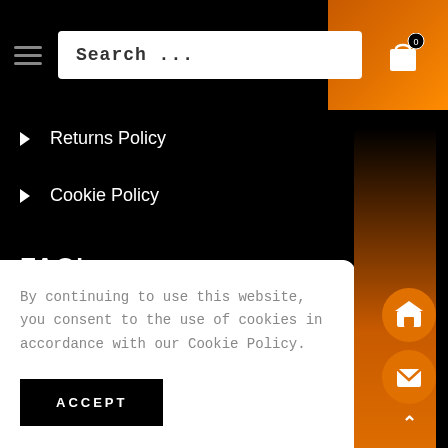Search...
Returns Policy
Cookie Policy
FAQ's
By continuing to use this website, you consent to the use of cookies in accordance with our Cookie Policy.
ACCEPT